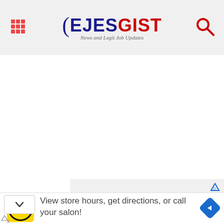EJESGIST — News and Legit Job Updates
[Figure (screenshot): Blank white content area below header]
[Figure (screenshot): Ad banner: WHAT DO I DO WHEN I LOSE MY HEALTH PLAN? in pink bold text on light gray background]
[Figure (screenshot): Bottom ad: HC logo (yellow box), text: View store hours, get directions, or call your salon!, blue diamond navigation arrow]